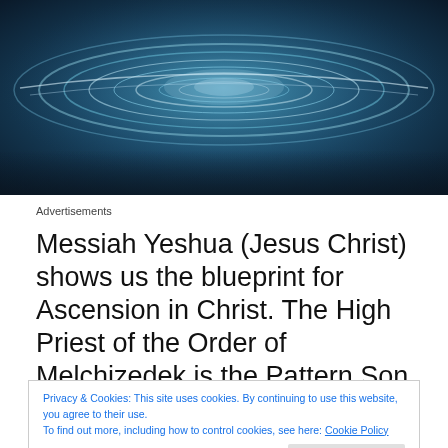[Figure (photo): Abstract blue swirling concentric rings with metallic sheen, dark teal and blue tones]
Advertisements
Messiah Yeshua (Jesus Christ) shows us the blueprint for Ascension in Christ. The High Priest of the Order of Melchizedek is the Pattern Son who first descended into
Privacy & Cookies: This site uses cookies. By continuing to use this website, you agree to their use.
To find out more, including how to control cookies, see here: Cookie Policy
There are many dimensions to this reality. The one that